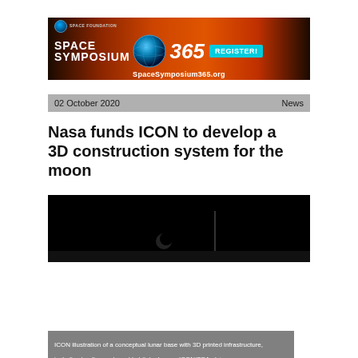[Figure (illustration): Space Foundation Space Symposium 365 banner advertisement with dark red/orange gradient background, globe icon, large white text reading SPACE SYMPOSIUM 365, a teal REGISTER! button, and URL SpaceSymposium365.org]
02 October 2020   News
Nasa funds ICON to develop a 3D construction system for the moon
[Figure (photo): Dark/black image showing a conceptual lunar base scene, mostly dark with a faint crescent moon or small celestial body and a thin vertical structure visible at center]
ICON illustration of a conceptual lunar base with 3D printed infrastructure, including landing pads and habitats. Image: ICON/SEArch+